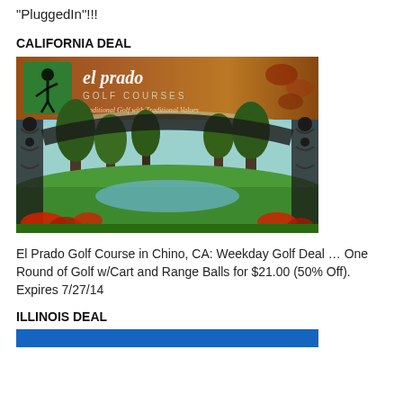"PluggedIn"!!!
CALIFORNIA DEAL
[Figure (photo): El Prado Golf Courses advertisement image showing logo with golfer silhouette, course name, tagline 'Traditional Golf with Traditional Values', and scenic photo of golf course with ornate iron gate framing green fairway, trees, pond, and red flowers.]
El Prado Golf Course in Chino, CA: Weekday Golf Deal ... One Round of Golf w/Cart and Range Balls for $21.00 (50% Off). Expires 7/27/14
ILLINOIS DEAL
[Figure (photo): Illinois deal banner image (partial, blue background visible at bottom).]